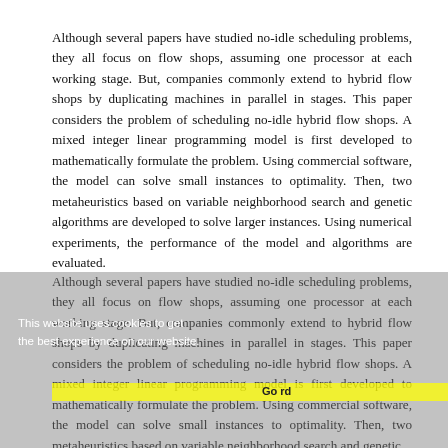Although several papers have studied no-idle scheduling problems, they all focus on flow shops, assuming one processor at each working stage. But, companies commonly extend to hybrid flow shops by duplicating machines in parallel in stages. This paper considers the problem of scheduling no-idle hybrid flow shops. A mixed integer linear programming model is first developed to mathematically formulate the problem. Using commercial software, the model can solve small instances to optimality. Then, two metaheuristics based on variable neighborhood search and genetic algorithms are developed to solve larger instances. Using numerical experiments, the performance of the model and algorithms are evaluated.
Although several papers have studied no-idle scheduling problems, they all focus on flow shops, assuming one processor at each working stage. But, companies commonly extend to hybrid flow shops by duplicating machines in parallel in stages. This paper considers the problem of scheduling no-idle hybrid flow shops. A mixed integer linear programming model is first developed to mathematically formulate the problem. Using commercial software, the model can solve small instances to optimality. Then, two metaheuristics based on variable neighborhood search and genetic